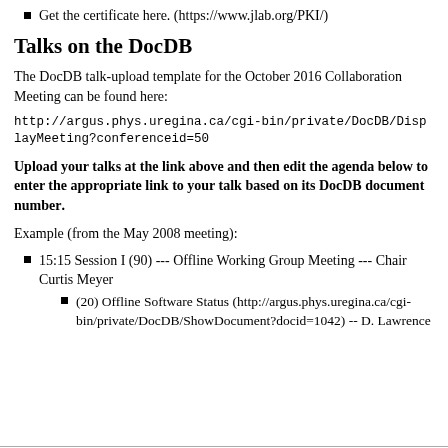Get the certificate here. (https://www.jlab.org/PKI/)
Talks on the DocDB
The DocDB talk-upload template for the October 2016 Collaboration Meeting can be found here:
http://argus.phys.uregina.ca/cgi-bin/private/DocDB/DisplayMeeting?conferenceid=50
Upload your talks at the link above and then edit the agenda below to enter the appropriate link to your talk based on its DocDB document number.
Example (from the May 2008 meeting):
15:15 Session I (90) --- Offline Working Group Meeting --- Chair Curtis Meyer
(20) Offline Software Status (http://argus.phys.uregina.ca/cgi-bin/private/DocDB/ShowDocument?docid=1042) -- D. Lawrence